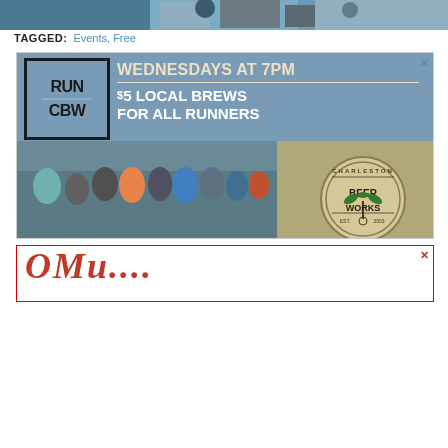[Figure (photo): Top portion of a photo showing people outdoors, likely cyclists or athletes, cropped at top of page]
TAGGED: Events, Free
[Figure (other): Advertisement for Run CBW at Charleston Beer Works: Wednesdays at 7PM, $5 Local Brews for All Runners. Shows group of runners in front of brewery with Charleston Beer Works logo.]
[Figure (other): Partial advertisement with red cursive script text, partially visible at bottom of page.]